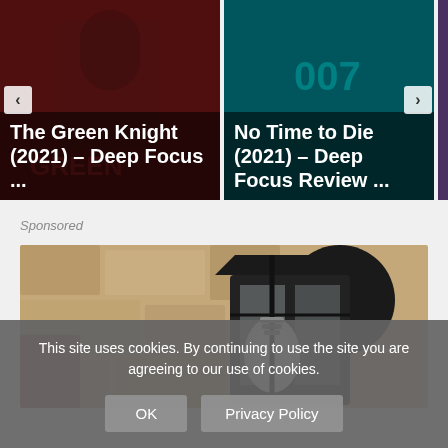[Figure (screenshot): Movie review card: The Green Knight (2021) – Deep Focus ... with dark reddish movie poster background]
[Figure (screenshot): Movie review card: No Time to Die (2021) – Deep Focus Review ... with teal 007 movie poster background]
Sponsored
[Figure (photo): Close-up photo of an outdoor wall lantern with a glowing bulb mounted on a textured stone wall]
This site uses cookies. By continuing to use the site you are agreeing to our use of cookies.
OK
Privacy Policy